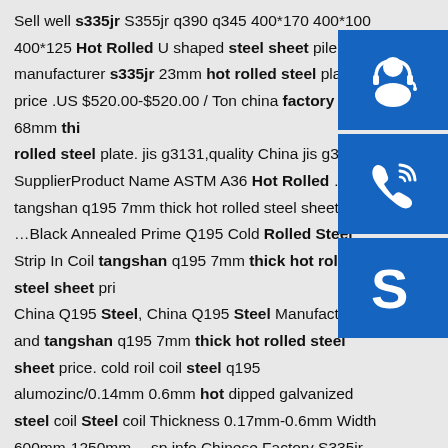Sell well s335jr S355jr q390 q345 400*170 400*100 400*125 Hot Rolled U shaped steel sheet pile china manufacturer s335jr 23mm hot rolled steel plate price .US $520.00-$520.00 / Ton china factory s335jr 68mm thick hot rolled steel plate. jis g3131,quality China jis g3131 SupplierProduct Name ASTM A36 Hot Rolled …sp.info tangshan q195 7mm thick hot rolled steel sheet price ...Black Annealed Prime Q195 Cold Rolled Steel Strip In Coil tangshan q195 7mm thick hot rolled steel sheet price China Q195 Steel, China Q195 Steel Manufacturers and tangshan q195 7mm thick hot rolled steel sheet price. cold roil coil steel q195 alumozinc/0.14mm 0.6mm hot dipped galvanized steel coil Steel coil Thickness 0.17mm-0.6mm Width 600mm-1250mm …sp.info Chinese Factory S335jr ASTM A569 ASTM A36 60mm Thick … Chinese Factory
[Figure (other): Three blue square buttons with white icons: headset/customer service icon, phone/call icon, and Skype icon]